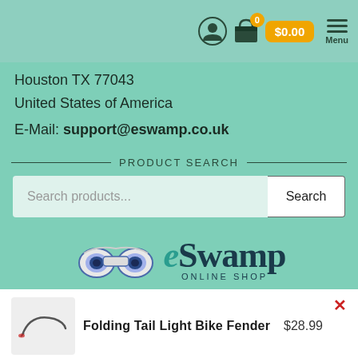$0.00  Menu
Houston TX 77043
United States of America
E-Mail: support@eswamp.co.uk
PRODUCT SEARCH
Search products...
[Figure (logo): eSwamp Online Shop logo with binoculars icon]
Folding Tail Light Bike Fender  $28.99
Add To Basket